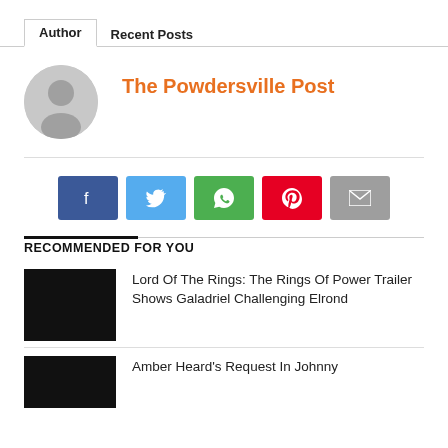Author | Recent Posts
The Powdersville Post
[Figure (illustration): Gray circular avatar with silhouette of a person]
[Figure (infographic): Social share buttons: Facebook (blue), Twitter (light blue), WhatsApp (green), Pinterest (red), Email (gray)]
RECOMMENDED FOR YOU
[Figure (photo): Black thumbnail image for Lord Of The Rings article]
Lord Of The Rings: The Rings Of Power Trailer Shows Galadriel Challenging Elrond
[Figure (photo): Black thumbnail image for Amber Heard article]
Amber Heard's Request In Johnny